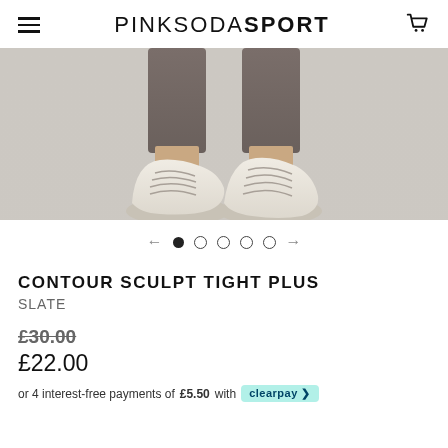PINK SODA SPORT
[Figure (photo): Close-up photo of a person wearing grey/slate athletic tights and cream/off-white chunky sneakers, photographed from the knees down against a light grey background.]
← ● ○ ○ ○ ○ →
CONTOUR SCULPT TIGHT PLUS
SLATE
£30.00
£22.00
or 4 interest-free payments of £5.50 with Clearpay